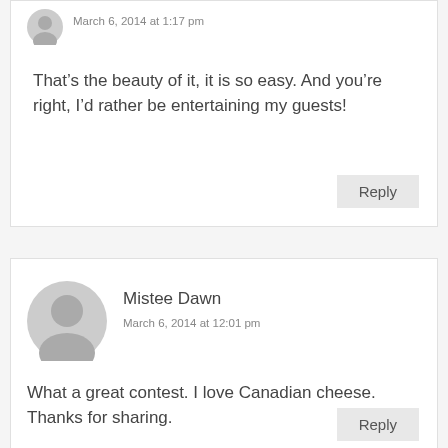March 6, 2014 at 1:17 pm
That’s the beauty of it, it is so easy. And you’re right, I’d rather be entertaining my guests!
Reply
Mistee Dawn
March 6, 2014 at 12:01 pm
What a great contest. I love Canadian cheese. Thanks for sharing.
Reply